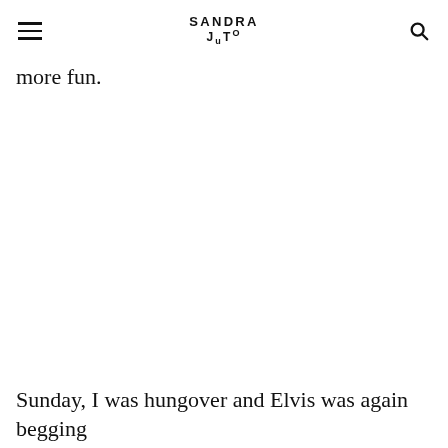SANDRA JUTO
more fun.
Sunday, I was hungover and Elvis was again begging